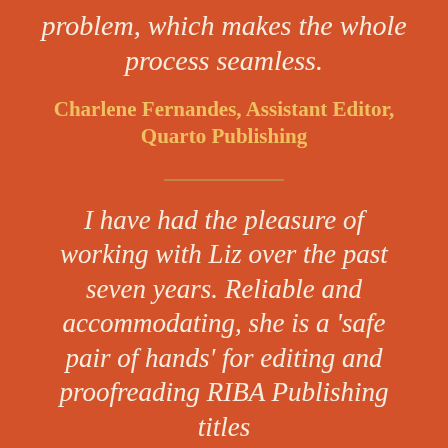problem, which makes the whole process seamless.
Charlene Fernandes, Assistant Editor, Quarto Publishing
I have had the pleasure of working with Liz over the past seven years. Reliable and accommodating, she is a 'safe pair of hands' for editing and proofreading RIBA Publishing titles